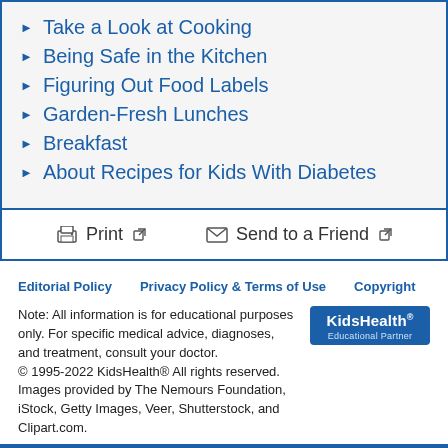Take a Look at Cooking
Being Safe in the Kitchen
Figuring Out Food Labels
Garden-Fresh Lunches
Breakfast
About Recipes for Kids With Diabetes
Print   Send to a Friend
Editorial Policy   Privacy Policy & Terms of Use   Copyright
Note: All information is for educational purposes only. For specific medical advice, diagnoses, and treatment, consult your doctor.
© 1995-2022 KidsHealth® All rights reserved.
Images provided by The Nemours Foundation, iStock, Getty Images, Veer, Shutterstock, and Clipart.com.
[Figure (logo): KidsHealth Educational Partner logo — blue rounded rectangle with white text]